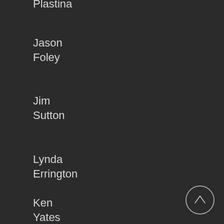Plastina
Jason Foley
Jim Sutton
Lynda Errington
Ken Yates